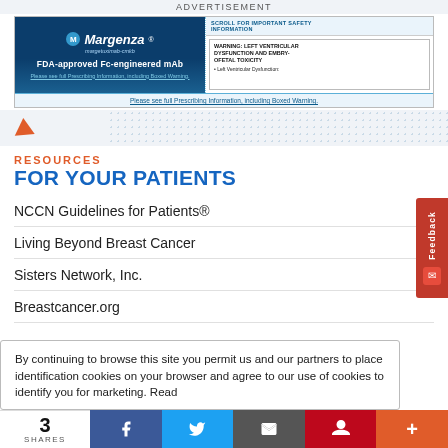ADVERTISEMENT
[Figure (photo): Margenza (margetuximab-cmkb) pharmaceutical advertisement banner. FDA-approved Fc-engineered mAb. Includes warning: LEFT VENTRICULAR DYSFUNCTION AND EMBRYO-FETAL TOXICITY. Please see full Prescribing Information, including Boxed Warning.]
RESOURCES
FOR YOUR PATIENTS
NCCN Guidelines for Patients®
Living Beyond Breast Cancer
Sisters Network, Inc.
Breastcancer.org
By continuing to browse this site you permit us and our partners to place identification cookies on your browser and agree to our use of cookies to identify you for marketing. Read
3 SHARES